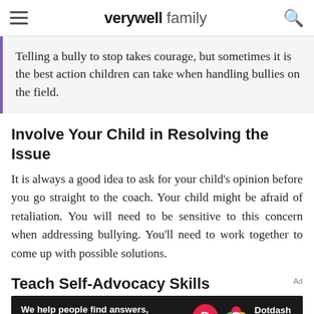verywell family
Telling a bully to stop takes courage, but sometimes it is the best action children can take when handling bullies on the field.
Involve Your Child in Resolving the Issue
It is always a good idea to ask for your child's opinion before you go straight to the coach. Your child might be afraid of retaliation. You will need to be sensitive to this concern when addressing bullying. You'll need to work together to come up with possible solutions.
Teach Self-Advocacy Skills
[Figure (other): Dotdash Meredith advertisement banner with text: We help people find answers, solve problems and get inspired.]